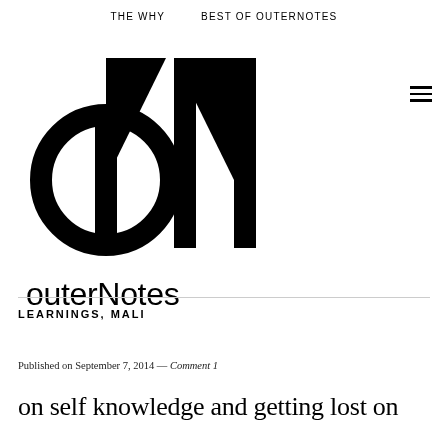THE WHY    BEST OF OUTERNOTES
[Figure (logo): outerNotes logo — stylized ON monogram in black with circle and diagonal strokes, followed by the text 'outerNotes' in bold sans-serif below]
LEARNINGS, MALI
Published on September 7, 2014 — Comment 1
on self knowledge and getting lost on